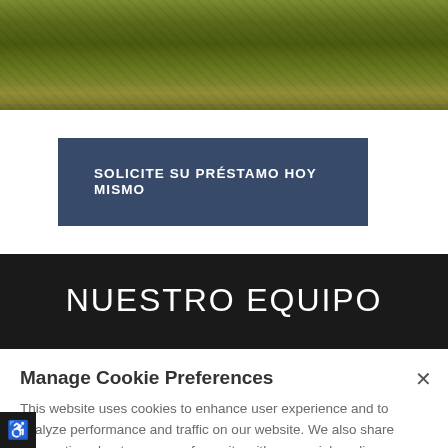[Figure (photo): Outdoor scene with green grass, vegetation, and a wooden fence or railing in the background with yellow-green foliage]
SOLICITE SU PRÉSTAMO HOY MISMO
NUESTRO EQUIPO
Manage Cookie Preferences
This website uses cookies to enhance user experience and to analyze performance and traffic on our website. We also share information about your use of our site with our social media, advertising and analytics partners.